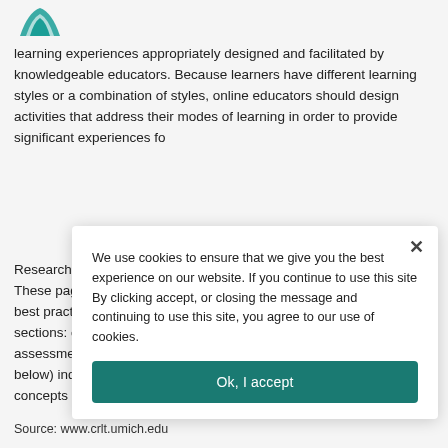[Figure (logo): Teal/turquoise stylized logo mark at top left]
learning experiences appropriately designed and facilitated by knowledgeable educators. Because learners have different learning styles or a combination of styles, online educators should design activities that address their modes of learning in order to provide significant experiences fo
Research on Be These pages p best practices sections: conte assessment, a below) indicate concepts in yo
We use cookies to ensure that we give you the best experience on our website. If you continue to use this site By clicking accept, or closing the message and continuing to use this site, you agree to our use of cookies.
Ok, I accept
Source: www.crlt.umich.edu